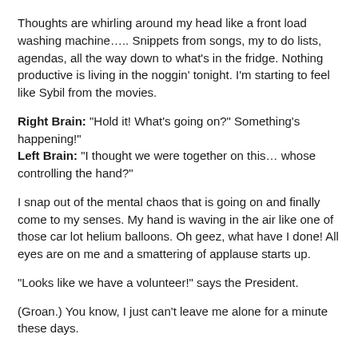Thoughts are whirling around my head like a front load washing machine….. Snippets from songs, my to do lists, agendas, all the way down to what's in the fridge. Nothing productive is living in the noggin' tonight. I'm starting to feel like Sybil from the movies.
Right Brain: “Hold it! What’s going on?” Something’s happening!” Left Brain: “I thought we were together on this… whose controlling the hand?”
I snap out of the mental chaos that is going on and finally come to my senses. My hand is waving in the air like one of those car lot helium balloons. Oh geez, what have I done! All eyes are on me and a smattering of applause starts up.
“Looks like we have a volunteer!” says the President.
(Groan.) You know, I just can’t leave me alone for a minute these days.